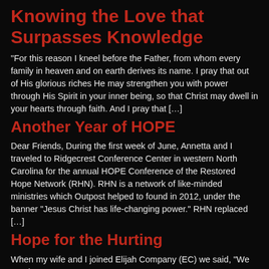Knowing the Love that Surpasses Knowledge
“For this reason I kneel before the Father, from whom every family in heaven and on earth derives its name. I pray that out of His glorious riches He may strengthen you with power through His Spirit in your inner being, so that Christ may dwell in your hearts through faith. And I pray that […]
Another Year of HOPE
Dear Friends, During the first week of June, Annetta and I traveled to Ridgecrest Conference Center in western North Carolina for the annual HOPE Conference of the Restored Hope Network (RHN). RHN is a network of like-minded ministries which Outpost helped to found in 2012, under the banner “Jesus Christ has life-changing power.” RHN replaced […]
Hope for the Hurting
When my wife and I joined Elijah Company (EC) we said, “We need